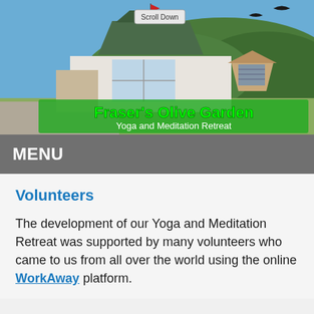[Figure (photo): Exterior photo of Fraser's Olive Garden Yoga and Meditation Retreat building with green hills in background, birds in sky, red flag on rooftop. Green overlay banner reads "Fraser's Olive Garden" and "Yoga and Meditation Retreat". A "Scroll Down" button is visible at top.]
MENU
Volunteers
The development of our Yoga and Meditation Retreat was supported by many volunteers who came to us from all over the world using the online WorkAway platform.